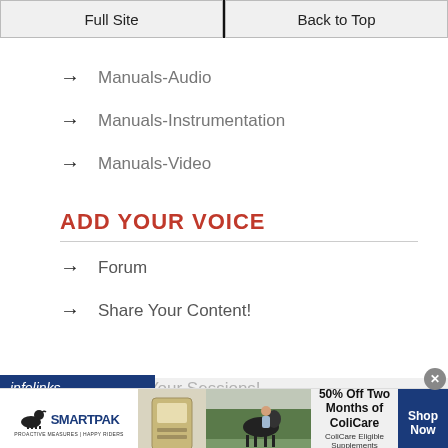Full Site | Back to Top
→ Manuals-Audio
→ Manuals-Instrumentation
→ Manuals-Video
ADD YOUR VOICE
→ Forum
→ Share Your Content!
→ Share Your Sessions!
[Figure (screenshot): infolinks advertising label bar at bottom left]
[Figure (infographic): SmartPak advertisement banner: 50% Off Two Months of ColiCare, ColiCare Eligible Supplements, CODE: COLICARE10, Shop Now button]